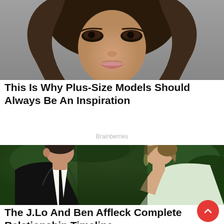[Figure (photo): Close-up photo of a young woman with long wavy brown hair and full lips against a grey background — plus-size model editorial photo.]
This Is Why Plus-Size Models Should Always Be An Inspiration
Brainberries
[Figure (photo): Photo of a man in a black tuxedo and a woman in a light green dress, forehead to forehead in an intimate pose at what appears to be a formal event — Ben Affleck and Jennifer Lopez.]
The J.Lo And Ben Affleck Complete Relationship Timeline